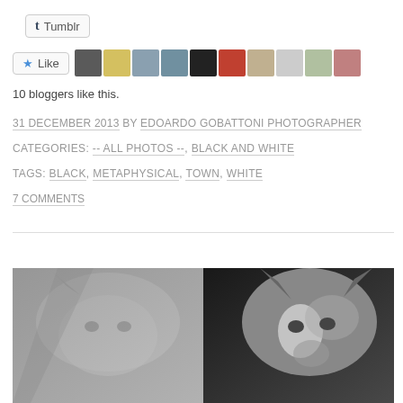[Figure (screenshot): Tumblr share button]
[Figure (screenshot): Like button with 10 blogger avatars]
10 bloggers like this.
31 DECEMBER 2013 BY EDOARDO GOBATTONI PHOTOGRAPHER
CATEGORIES: -- ALL PHOTOS --, BLACK AND WHITE
TAGS: BLACK, METAPHYSICAL, TOWN, WHITE
7 COMMENTS
[Figure (photo): Black and white diptych photograph of a dog (husky/wolf-like), split image showing lighter left and darker right panels]